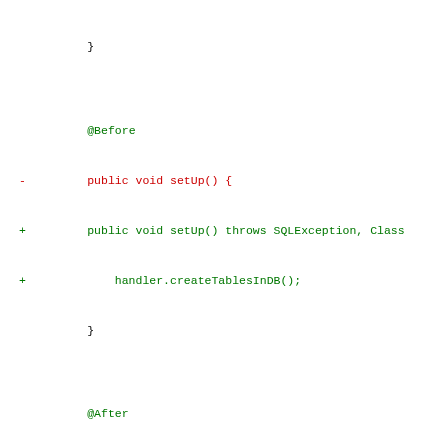Code diff showing Java test file modifications including setUp(), @Before/@After annotations, testAddingBookToDb(), and testAddingFewBooksOfSameAuthorToDb() methods with added lines for handler.createTablesInDB(), SqliteDatabaseHandler, String variables, Author creation.